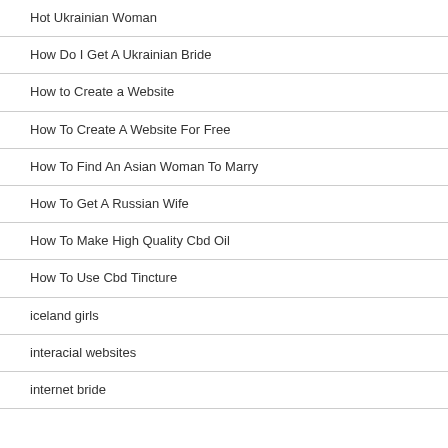Hot Ukrainian Woman
How Do I Get A Ukrainian Bride
How to Create a Website
How To Create A Website For Free
How To Find An Asian Woman To Marry
How To Get A Russian Wife
How To Make High Quality Cbd Oil
How To Use Cbd Tincture
iceland girls
interacial websites
internet bride